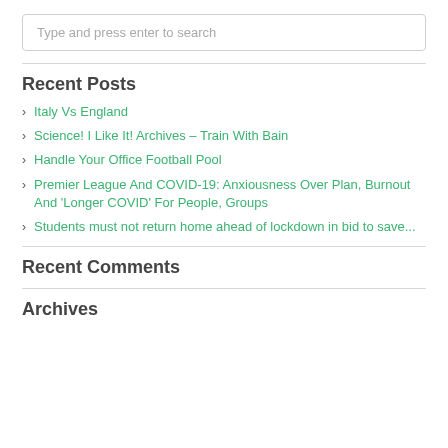Type and press enter to search
Recent Posts
Italy Vs England
Science! I Like It! Archives – Train With Bain
Handle Your Office Football Pool
Premier League And COVID-19: Anxiousness Over Plan, Burnout And 'Longer COVID' For People, Groups
Students must not return home ahead of lockdown in bid to save...
Recent Comments
Archives